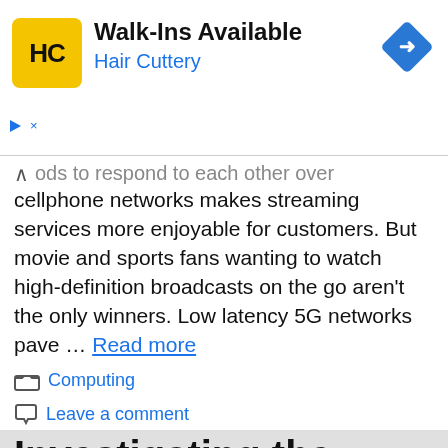[Figure (other): Hair Cuttery advertisement banner with yellow logo, Walk-Ins Available text, and blue navigation icon]
…ods to respond to each other over cellphone networks makes streaming services more enjoyable for customers. But movie and sports fans wanting to watch high-definition broadcasts on the go aren't the only winners. Low latency 5G networks pave … Read more
Computing
Leave a comment
Investigating the